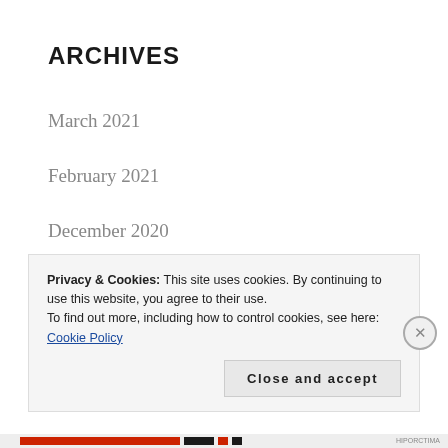ARCHIVES
March 2021
February 2021
December 2020
September 2020
August 2020
June 2020
Privacy & Cookies: This site uses cookies. By continuing to use this website, you agree to their use.
To find out more, including how to control cookies, see here: Cookie Policy
Close and accept